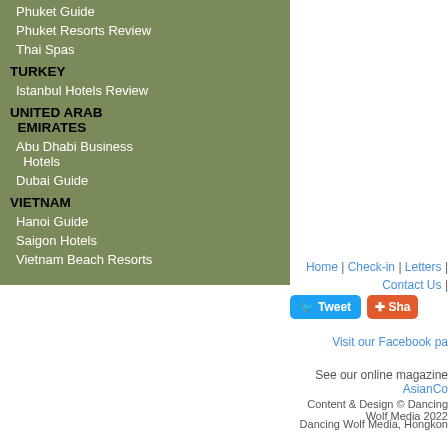Phuket Guide
Phuket Resorts Review
Thai Spas
TURKEY
Istanbul Hotels Review
UNITED ARAB EMIRATES
Abu Dhabi Business Hotels
Dubai Guide
VIETNAM
Hanoi Guide
Saigon Hotels
Vietnam Beach Resorts
Home | Check-in | Letters | Contact Us |
[Figure (other): Tweet button and Share button]
Visit our Facebook pa
See our online magazine AsianCo
Content & Design © Dancing Wolf Media 2022
Dancing Wolf Media, Hongkon